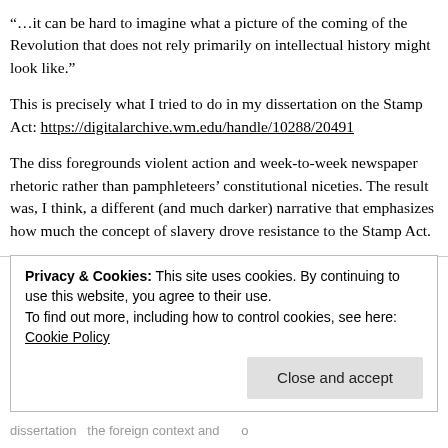“…it can be hard to imagine what a picture of the coming of the Revolution that does not rely primarily on intellectual history might look like.”
This is precisely what I tried to do in my dissertation on the Stamp Act: https://digitalarchive.wm.edu/handle/10288/20491
The diss foregrounds violent action and week-to-week newspaper rhetoric rather than pamphleteers’ constitutional niceties. The result was, I think, a different (and much darker) narrative that emphasizes how much the concept of slavery drove resistance to the Stamp Act.
[Figure (photo): Small thumbnail photo of author Michael D. Hattem, partially visible]
Michael D. Hattem...
Privacy & Cookies: This site uses cookies. By continuing to use this website, you agree to their use.
To find out more, including how to control cookies, see here: Cookie Policy
Close and accept